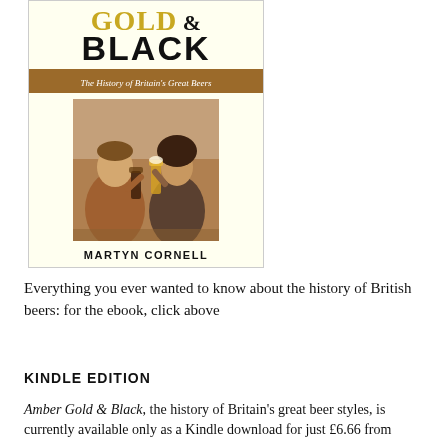[Figure (illustration): Book cover of 'Amber Gold & Black: The History of Britain's Great Beers' by Martyn Cornell. Cream/ivory background with gold and black title text, a brown subtitle banner, a sepia-toned photo of a man and woman clinking beer glasses, and the author's name in bold black at the bottom.]
Everything you ever wanted to know about the history of British beers: for the ebook, click above
KINDLE EDITION
Amber Gold & Black, the history of Britain's great beer styles, is currently available only as a Kindle download for just £6.66 from